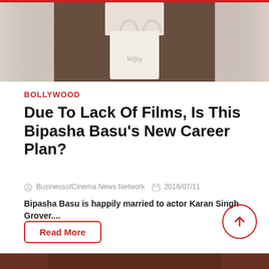[Figure (photo): Person holding a white tote bag with 'Wifey' text written on it, photographed from chest down with blurred background]
BOLLYWOOD
Due To Lack Of Films, Is This Bipasha Basu's New Career Plan?
BusinessofCinema News Network  2016/07/11
Bipasha Basu is happily married to actor Karan Singh Grover....
Read More
[Figure (photo): Bottom strip showing partial image at bottom of page]